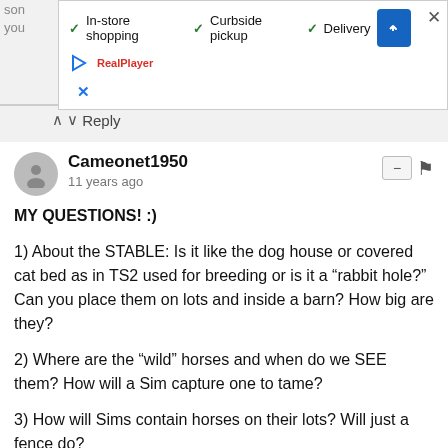[Figure (screenshot): Ad overlay banner with In-store shopping, Curbside pickup, Delivery checkmarks, a blue diamond navigation icon, and a close button]
Reply
Cameonet1950
11 years ago
MY QUESTIONS! :)
1) About the STABLE: Is it like the dog house or covered cat bed as in TS2 used for breeding or is it a “rabbit hole?” Can you place them on lots and inside a barn? How big are they?
2) Where are the “wild” horses and when do we SEE them? How will a Sim capture one to tame?
3) How will Sims contain horses on their lots? Will just a fence do?
4) Will horses require a special “companion” object like the vehicles requiring a parking space and bicycles a rack in order for them to work?
5) Will Sims actually mount/dismount horses or will they